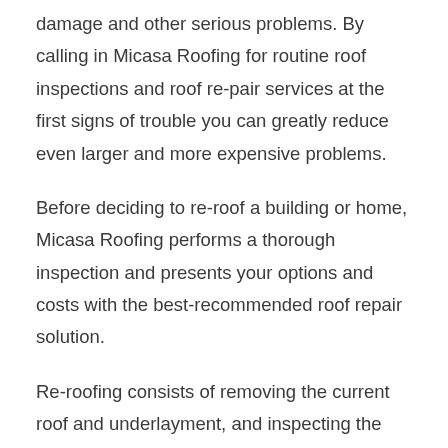damage and other serious problems. By calling in Micasa Roofing for routine roof inspections and roof re-pair services at the first signs of trouble you can greatly reduce even larger and more expensive problems.
Before deciding to re-roof a building or home, Micasa Roofing performs a thorough inspection and presents your options and costs with the best-recommended roof repair solution.
Re-roofing consists of removing the current roof and underlayment, and inspecting the plywood deck. After replacing any plywood we install new underlayment over the clean deck and install the roofing material. Re-roofing may